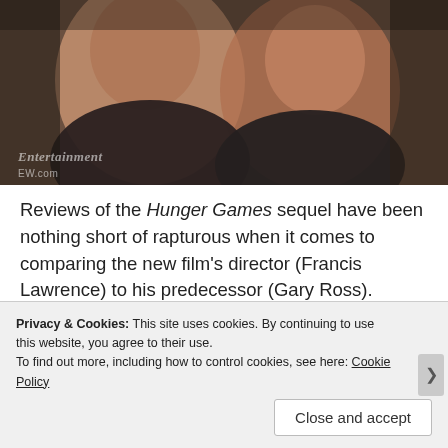[Figure (photo): Photo of two people from behind, wearing dark athletic clothing, with Entertainment Weekly watermark overlay]
Reviews of the Hunger Games sequel have been nothing short of rapturous when it comes to comparing the new film's director (Francis Lawrence) to his predecessor (Gary Ross). Critics are crediting Lawrence with taking Suzanne Collins' unwieldy second novel and turning it into a tight, suspense-filled thriller all the while judging the shaky cam snooze fest that (apparently) was the first movie.
Privacy & Cookies: This site uses cookies. By continuing to use this website, you agree to their use. To find out more, including how to control cookies, see here: Cookie Policy